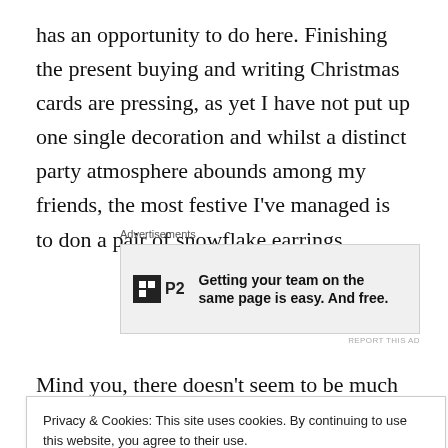has an opportunity to do here. Finishing the present buying and writing Christmas cards are pressing, as yet I have not put up one single decoration and whilst a distinct party atmosphere abounds among my friends, the most festive I’ve managed is to don a pair of snowflake earrings.
[Figure (other): Advertisement banner for P2 with text: Getting your team on the same page is easy. And free.]
Mind you, there doesn’t seem to be much sun up there.
Privacy & Cookies: This site uses cookies. By continuing to use this website, you agree to their use.
To find out more, including how to control cookies, see here: Cookie Policy
laea by the nano second.